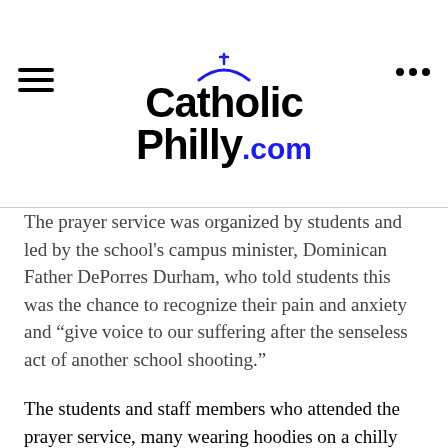CatholicPhilly.com
The prayer service was organized by students and led by the school's campus minister, Dominican Father DePorres Durham, who told students this was the chance to recognize their pain and anxiety and "give voice to our suffering after the senseless act of another school shooting."
The students and staff members who attended the prayer service, many wearing hoodies on a chilly but sunny morning, circled around the grotto on a high point of the campus overlooking the football stadium. They listened as the names of 27 schools impacted by shootings were read aloud and then were silent before reading reflections and praying the Our Father.
The presenters urged students to write a commitment to action